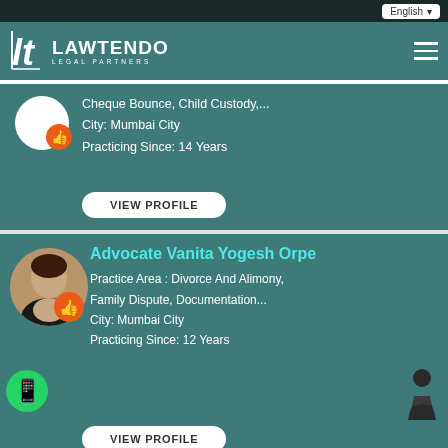English
[Figure (logo): Lawtendo Legal Partners logo with LT initials]
Cheque Bounce, Child Custody,...
City: Mumbai City
Practicing Since: 14 Years
VIEW PROFILE
Advocate Vanita Yogesh Orpe
Practice Area : Divorce And Alimony, Family Dispute, Documentation...
City: Mumbai City
Practicing Since: 12 Years
VIEW PROFILE